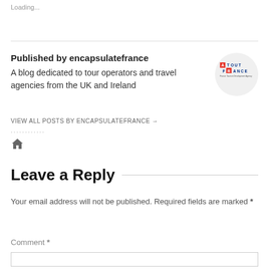Loading...
Published by encapsulatefrance
A blog dedicated to tour operators and travel agencies from the UK and Ireland
[Figure (logo): Atout France logo inside a circular grey background]
VIEW ALL POSTS BY ENCAPSULATEFRANCE →
............
[Figure (other): Home icon (house symbol)]
Leave a Reply
Your email address will not be published. Required fields are marked *
Comment *